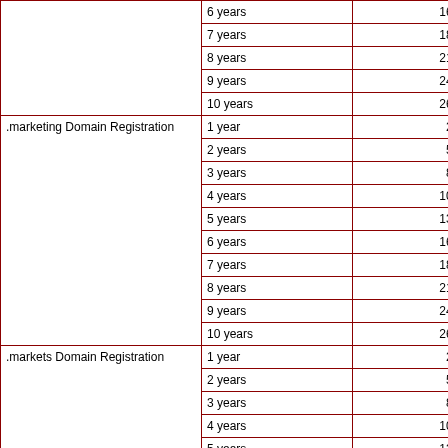| Service | Term | Price |
| --- | --- | --- |
|  | 6 years | 160.00 |
|  | 7 years | 187.00 |
|  | 8 years | 213.00 |
|  | 9 years | 240.00 |
|  | 10 years | 267.00 |
| .marketing Domain Registration | 1 year | 27.00 |
|  | 2 years | 53.00 |
|  | 3 years | 80.00 |
|  | 4 years | 107.00 |
|  | 5 years | 133.00 |
|  | 6 years | 160.00 |
|  | 7 years | 187.00 |
|  | 8 years | 213.00 |
|  | 9 years | 240.00 |
|  | 10 years | 267.00 |
| .markets Domain Registration | 1 year | 27.00 |
|  | 2 years | 53.00 |
|  | 3 years | 80.00 |
|  | 4 years | 107.00 |
|  | 5 years | 133.00 |
|  | 6 years | 160.00 |
|  | 7 years | 187.00 |
|  | 8 years | 213.00 |
|  | 9 years | 240.00 |
|  | 10 years | 267.00 |
| .mba Domain Registration | 1 year | 27.00 |
|  | 2 years | 53.00 |
|  | 3 years | 80.00 |
|  | 4 years | 107.00 |
|  | 5 years | 133.00 |